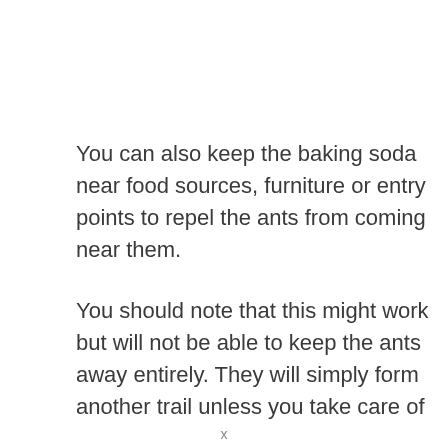You can also keep the baking soda near food sources, furniture or entry points to repel the ants from coming near them.
You should note that this might work but will not be able to keep the ants away entirely. They will simply form another trail unless you take care of